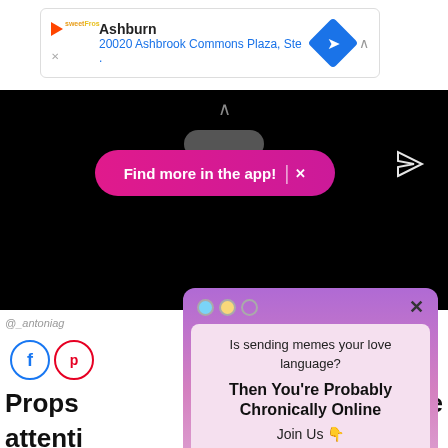[Figure (screenshot): Ad banner showing sweetFrog brand with Ashburn location: 20020 Ashbrook Commons Plaza, Ste. with blue navigation diamond icon and chevron]
[Figure (screenshot): Black video player area with pink 'Find more in the app! X' pill button overlay and send/navigation icon]
@_antoniag
[Figure (screenshot): Modal popup with gradient background. Header dots and X close button. Content: 'Is sending memes your love language?' 'Then You're Probably Chronically Online' 'Join Us 👇' Email address input field, Sign Me Up! button, No Thanks link]
Props  ative attenti  harnes  ctive. You ca  ked to on the